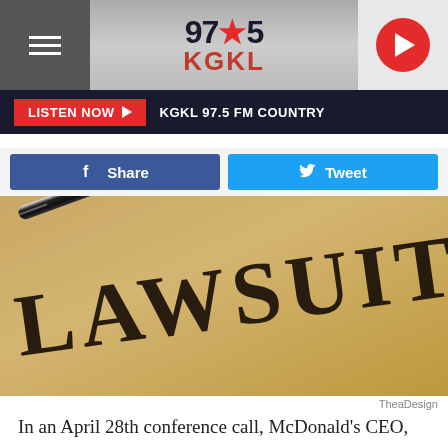97.5 KGKL
LISTEN NOW  KGKL 97.5 FM COUNTRY
Share   Tweet
[Figure (photo): Photo of a document with the word LAWSUIT printed on it in large serif letters, with a pen resting on top, on a tan/brown background]
TheaDesign
In an April 28th conference call, McDonald's CEO, Chris Kempczinski said that lower income consumers probably